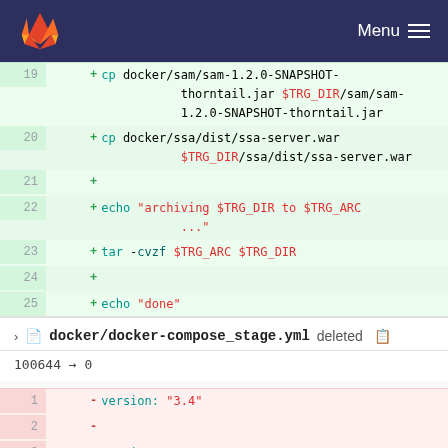[Figure (screenshot): GitLab navigation bar with orange fox logo on left and Menu hamburger icon on right, dark navy background]
19  + cp docker/sam/sam-1.2.0-SNAPSHOT-thorntail.jar $TRG_DIR/sam/sam-1.2.0-SNAPSHOT-thorntail.jar
20  + cp docker/ssa/dist/ssa-server.war $TRG_DIR/ssa/dist/ssa-server.war
21  +
22  + echo "archiving $TRG_DIR to $TRG_ARC ..."
23  + tar -cvzf $TRG_ARC $TRG_DIR
24  +
25  + echo "done"
26  +
27  + exit 0
docker/docker-compose_stage.yml deleted
100644 → 0
1  - version: "3.4"
2  -
3  - services: